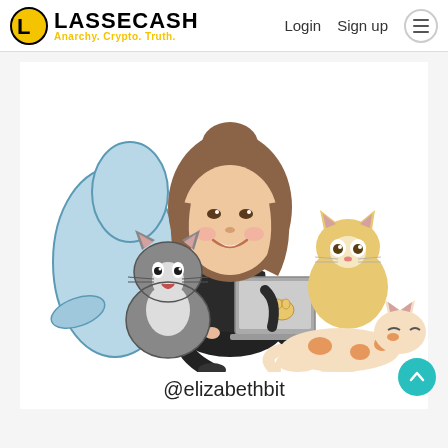LASSECASH - Anarchy. Crypto. Truth. | Login | Sign up
[Figure (illustration): Cartoon-style illustration of a girl with long brown hair and a real photo face, sitting with three cats and a laptop. One gray cat on the left, one orange/cream cat on the right, one orange-spotted cat lying in the front. A blue cartoon seal/pillow in the background.]
@elizabethbit